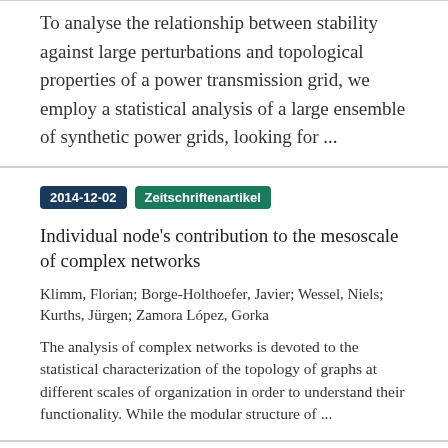To analyse the relationship between stability against large perturbations and topological properties of a power transmission grid, we employ a statistical analysis of a large ensemble of synthetic power grids, looking for ...
2014-12-02  Zeitschriftenartikel
Individual node's contribution to the mesoscale of complex networks
Klimm, Florian; Borge-Holthoefer, Javier; Wessel, Niels; Kurths, Jürgen; Zamora López, Gorka
The analysis of complex networks is devoted to the statistical characterization of the topology of graphs at different scales of organization in order to understand their functionality. While the modular structure of ...
2014-12-15  Zeitschriftenartikel
Cha...